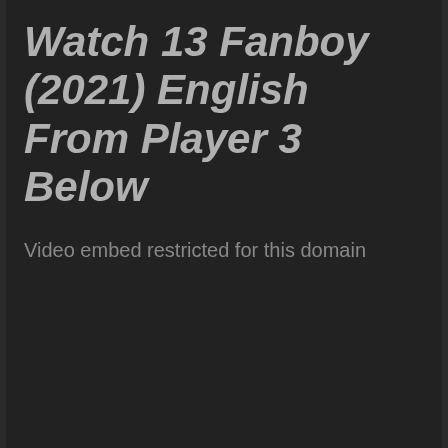Watch 13 Fanboy (2021) English From Player 3 Below
Video embed restricted for this domain